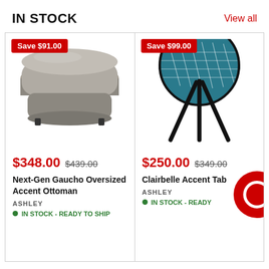IN STOCK
View all
[Figure (photo): Gray upholstered oversized ottoman with rounded edges and short black feet]
Save $91.00
$348.00  $439.00
Next-Gen Gaucho Oversized Accent Ottoman
ASHLEY
IN STOCK - READY TO SHIP
[Figure (photo): Round teal tile-top accent table with three black metal legs]
Save $99.00
$250.00  $349.00
Clairbelle Accent Tab...
ASHLEY
IN STOCK - READY TO SHIP